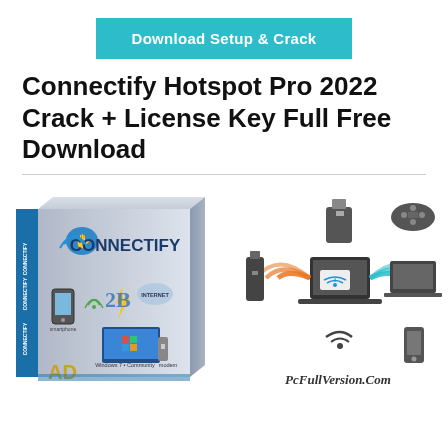[Figure (screenshot): Teal/cyan download button with text 'Download Setup & Crack']
Connectify Hotspot Pro 2022 Crack + License Key Full Free Download
[Figure (photo): Connectify Hotspot software box product image on the left, and a network diagram showing a laptop with wifi signal connecting to various devices (USB drive, game controller, laptop, phone) with 'PcFullVersion.Com' watermark on the right]